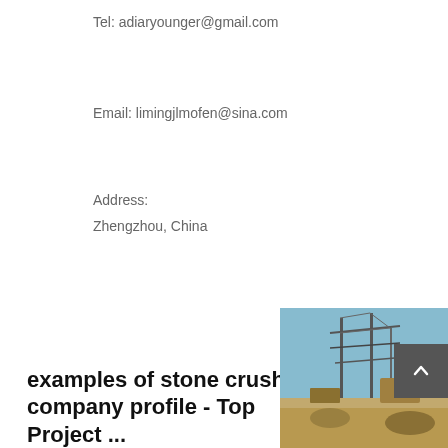Tel: adiaryounger@gmail.com
Email: limingjlmofen@sina.com
Address:
Zhengzhou, China
examples of stone crusher company profile - Top Project ...
[Figure (photo): Outdoor construction or mining site with overhead structures and equipment against a blue sky]